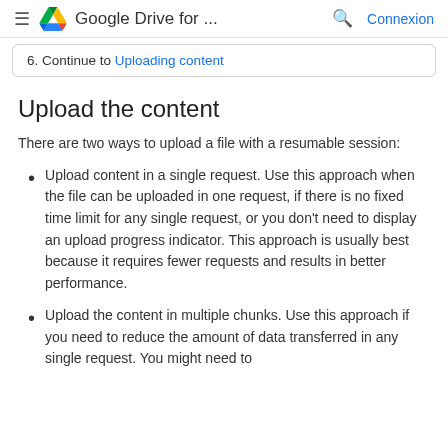≡ Google Drive for ... 🔍 Connexion
6. Continue to Uploading content
Upload the content
There are two ways to upload a file with a resumable session:
Upload content in a single request. Use this approach when the file can be uploaded in one request, if there is no fixed time limit for any single request, or you don't need to display an upload progress indicator. This approach is usually best because it requires fewer requests and results in better performance.
Upload the content in multiple chunks. Use this approach if you need to reduce the amount of data transferred in any single request. You might need to